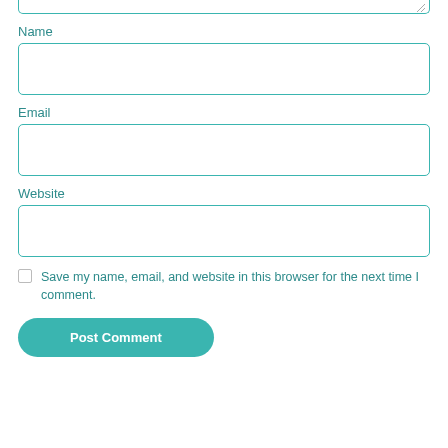[textarea top edge]
Name
[Name input field]
Email
[Email input field]
Website
[Website input field]
Save my name, email, and website in this browser for the next time I comment.
Post Comment